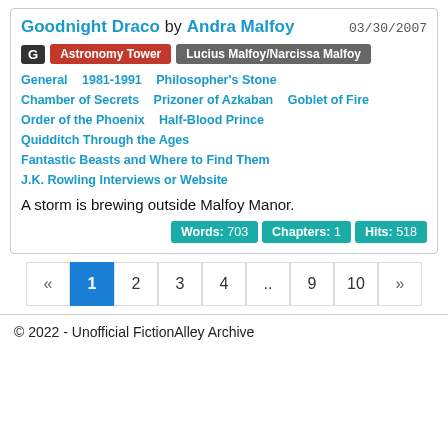Goodnight Draco by Andra Malfoy 03/30/2007
G | Astronomy Tower | Lucius Malfoy/Narcissa Malfoy
General   1981-1991   Philosopher's Stone
Chamber of Secrets   Prizoner of Azkaban   Goblet of Fire
Order of the Phoenix   Half-Blood Prince
Quidditch Through the Ages
Fantastic Beasts and Where to Find Them
J.K. Rowling Interviews or Website
A storm is brewing outside Malfoy Manor.
Words: 703   Chapters: 1   Hits: 518
« 1 2 3 4 .. 9 10 »
© 2022 - Unofficial FictionAlley Archive